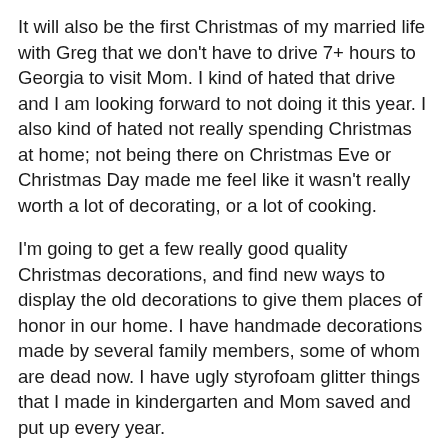It will also be the first Christmas of my married life with Greg that we don't have to drive 7+ hours to Georgia to visit Mom. I kind of hated that drive and I am looking forward to not doing it this year. I also kind of hated not really spending Christmas at home; not being there on Christmas Eve or Christmas Day made me feel like it wasn't really worth a lot of decorating, or a lot of cooking.
I'm going to get a few really good quality Christmas decorations, and find new ways to display the old decorations to give them places of honor in our home. I have handmade decorations made by several family members, some of whom are dead now. I have ugly styrofoam glitter things that I made in kindergarten and Mom saved and put up every year.
After taking our usual Thanksgiving day trips to Greg's various family members the month before, we can just take a few days off work and create our own brand new Christmas traditions.
I swear I'm looking forward to it.